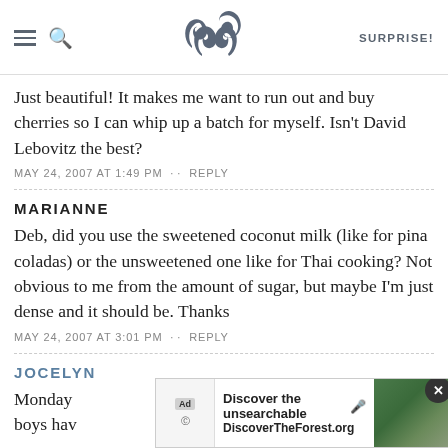SK — SURPRISE!
Just beautiful! It makes me want to run out and buy cherries so I can whip up a batch for myself. Isn't David Lebovitz the best?
MAY 24, 2007 AT 1:49 PM · · REPLY
MARIANNE
Deb, did you use the sweetened coconut milk (like for pina coladas) or the unsweetened one like for Thai cooking? Not obvious to me from the amount of sugar, but maybe I'm just dense and it should be. Thanks
MAY 24, 2007 AT 3:01 PM · · REPLY
JOCELYN
Monday ... those boys hav... they are
[Figure (screenshot): Ad overlay for DiscoverTheForest.org with close button, showing 'Discover the unsearchable' headline and forest photo]